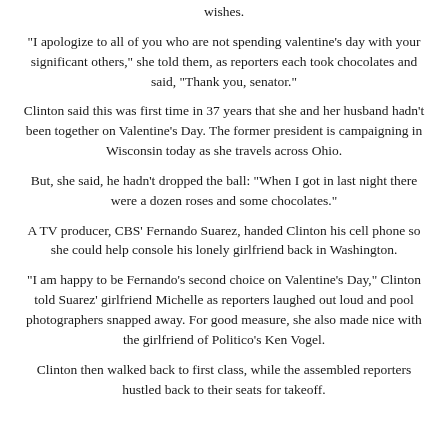wishes.
"I apologize to all of you who are not spending valentine's day with your significant others," she told them, as reporters each took chocolates and said, "Thank you, senator."
Clinton said this was first time in 37 years that she and her husband hadn't been together on Valentine's Day. The former president is campaigning in Wisconsin today as she travels across Ohio.
But, she said, he hadn't dropped the ball: "When I got in last night there were a dozen roses and some chocolates."
A TV producer, CBS' Fernando Suarez, handed Clinton his cell phone so she could help console his lonely girlfriend back in Washington.
"I am happy to be Fernando's second choice on Valentine's Day," Clinton told Suarez' girlfriend Michelle as reporters laughed out loud and pool photographers snapped away. For good measure, she also made nice with the girlfriend of Politico's Ken Vogel.
Clinton then walked back to first class, while the assembled reporters hustled back to their seats for takeoff.